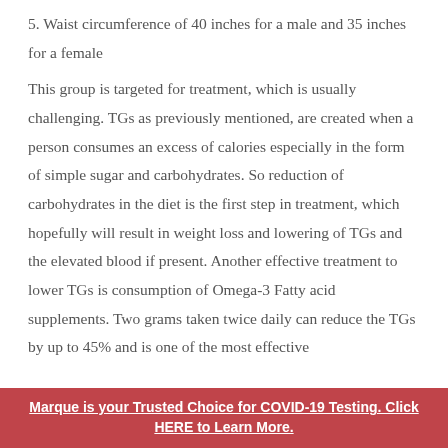5. Waist circumference of 40 inches for a male and 35 inches for a female
This group is targeted for treatment, which is usually challenging. TGs as previously mentioned, are created when a person consumes an excess of calories especially in the form of simple sugar and carbohydrates. So reduction of carbohydrates in the diet is the first step in treatment, which hopefully will result in weight loss and lowering of TGs and the elevated blood if present. Another effective treatment to lower TGs is consumption of Omega-3 Fatty acid supplements. Two grams taken twice daily can reduce the TGs by up to 45% and is one of the most effective
Marque is your Trusted Choice for COVID-19 Testing. Click HERE to Learn More.